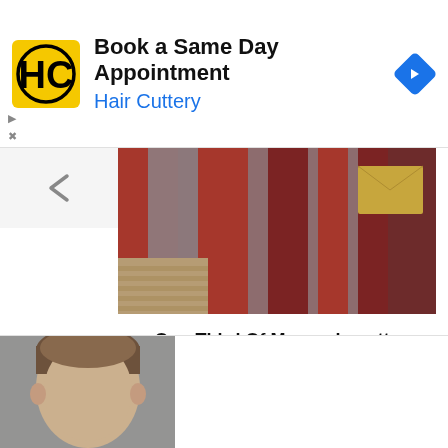[Figure (other): Hair Cuttery advertisement banner with logo, 'Book a Same Day Appointment' text, and navigation icon]
[Figure (photo): Person wrapped in American flag blanket sitting on bench, holding yellow envelope]
One-Third Of Massachusetts Public Students Were Chronically Absent Last Year
[Figure (photo): Partial photo of a man with brown hair, cropped at bottom of page]